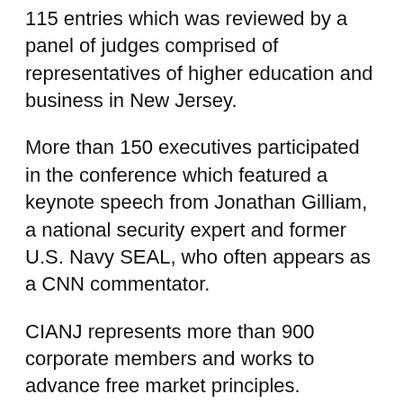115 entries which was reviewed by a panel of judges comprised of representatives of higher education and business in New Jersey.
More than 150 executives participated in the conference which featured a keynote speech from Jonathan Gilliam, a national security expert and former U.S. Navy SEAL, who often appears as a CNN commentator.
CIANJ represents more than 900 corporate members and works to advance free market principles.
“It makes so much sense to focus on best practice because they are at the core of what we do at Commerce and Industry Association,” said Martin Kafafian, managing partner at the Beattie Padovano law firm, who chairs the CIANJ board of directors. “CIANJ is all about helping business grow and thrive. What better way to accomplish that, than to share best practices, the experience... the